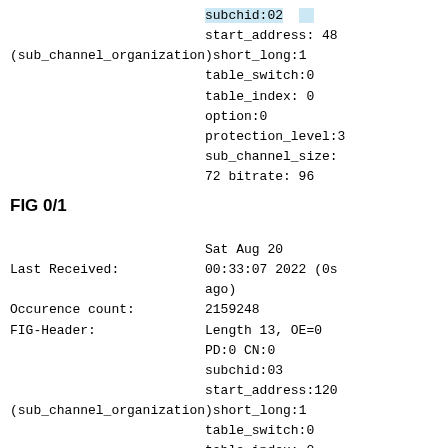subchid:02 (partially visible at top)
start_address: 48
(sub_channel_organization) short_long:1
table_switch:0
table_index: 0
option:0
protection_level:3
sub_channel_size:
72 bitrate: 96
FIG 0/1
Last Received: Sat Aug 20 00:33:07 2022 (0s ago)
Occurence count: 2159248
FIG-Header: Length 13, OE=0 PD:0 CN:0 subchid:03 start_address:120
(sub_channel_organization) short_long:1
table_switch:0
table_index: 0
option:0
protection_level:3
sub_channel_size: (partially visible)